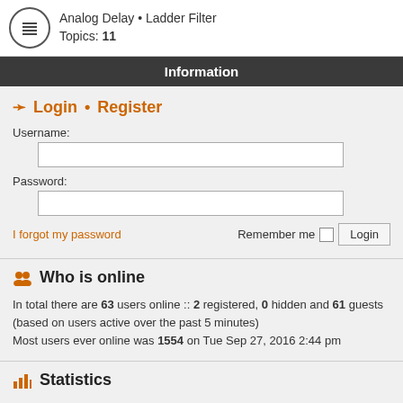Analog Delay • Ladder Filter
Topics: 11
Information
🔑 Login • Register
Username:
Password:
I forgot my password   Remember me  Login
Who is online
In total there are 63 users online :: 2 registered, 0 hidden and 61 guests (based on users active over the past 5 minutes)
Most users ever online was 1554 on Tue Sep 27, 2016 2:44 pm
Statistics
Total posts 159214 • Total topics 21095 • Total members 42234 • Our newest member Sakibkhan60